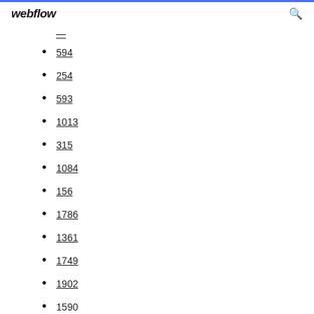webflow
594
254
593
1013
315
1084
156
1786
1361
1749
1902
1590